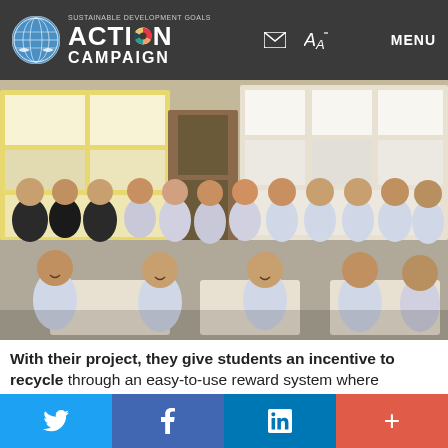SUSTAINABLE DEVELOPMENT GOALS ACTION CAMPAIGN — MENU
[Figure (photo): Group photo of students in a classroom, some in school uniforms and some in casual dark clothing. The classroom has colorful bulletin boards and displays on the walls.]
With their project, they give students an incentive to recycle through an easy-to-use reward system where students collect points from reporting their recycling